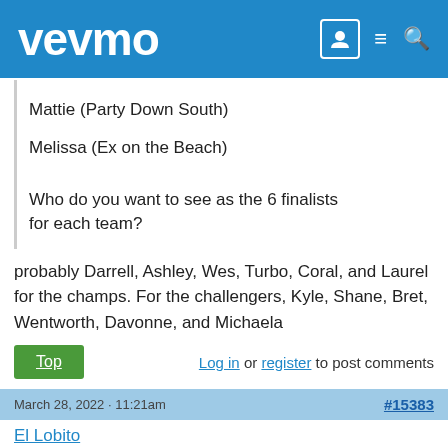vevmo
Mattie (Party Down South)
Melissa (Ex on the Beach)
Who do you want to see as the 6 finalists for each team?
probably Darrell, Ashley, Wes, Turbo, Coral, and Laurel for the champs. For the challengers, Kyle, Shane, Bret, Wentworth, Davonne, and Michaela
Top | Log in or register to post comments
March 28, 2022 · 11:21am  #15383
El Lobito